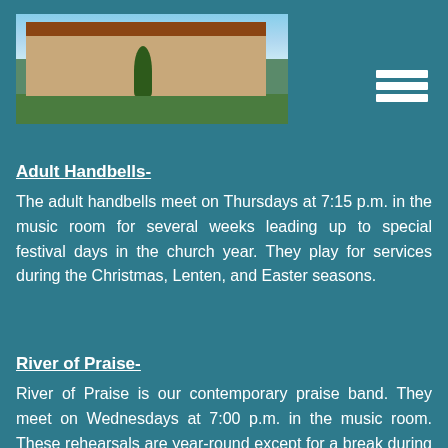[Figure (photo): Exterior photo of a church building with red/terracotta roof, tan walls, green lawn, trees, and blue sky with clouds]
Adult Handbells-
The adult handbells meet on Thursdays at 7:15 p.m. in the music room for several weeks leading up to special festival days in the church year. They play for services during the Christmas, Lenten, and Easter seasons.
River of Praise-
River of Praise is our contemporary praise band. They meet on Wednesdays at 7:00 p.m. in the music room. These rehearsals are year-round except for a break during the